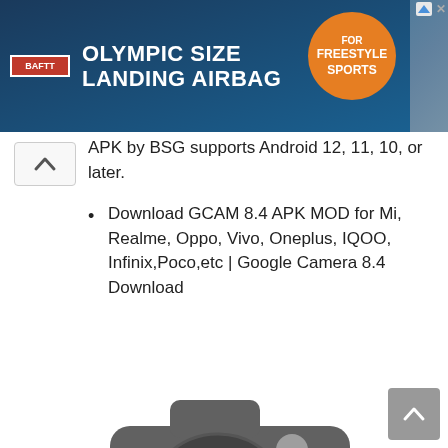[Figure (screenshot): Advertisement banner for Olympic Size Landing Airbag for Freestyle Sports, with orange circle badge]
APK by BSG supports Android 12, 11, 10, or later.
Download GCAM 8.4 APK MOD for Mi, Realme, Oppo, Vivo, Oneplus, IQOO, Infinix,Poco,etc | Google Camera 8.4 Download
[Figure (illustration): Google Camera app icon: grey camera body with blue lens circle]